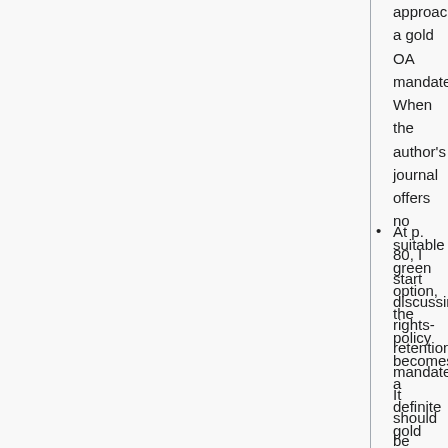approaches a gold OA mandate. When the author's journal offers no suitable green option, the policy becomes a definite gold OA mandate. (Moreover, it's a gold policy with incentives for journals not to offer suitable green green options....)"
At p. 80, I start discussing rights-retention mandates. It should be clear from the text, and from many of my previous writings, that this is the model I favor. I reiterated and elaborated my position in October 2012 when Stuart Shieber and I released the first version of our guide to Good practices for university open-access policies. The guide distinguishes six kinds of policy, unlike the book which only distinguishes four, to distinguish...